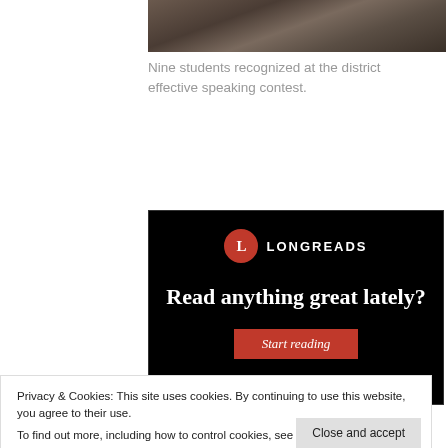[Figure (photo): Group photo of students at district effective speaking contest, partially visible at top of page]
Nine students recognized at the district effective speaking contest.
[Figure (screenshot): Longreads advertisement with black background. Red circular logo with 'L', text 'LONGREADS', headline 'Read anything great lately?', and a red 'Start reading' button.]
Privacy & Cookies: This site uses cookies. By continuing to use this website, you agree to their use.
To find out more, including how to control cookies, see here: Cookie Policy
financial contributions to Camp Brigadoon, a facility for